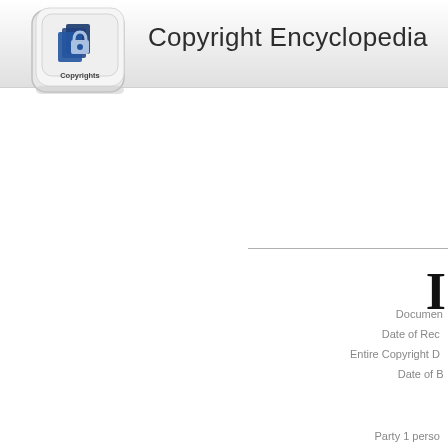[Figure (logo): Copyright Encyclopedia logo — a white keyboard key with a padlock and document icon, labeled 'Copyrights']
Copyright Encyclopedia
Document
Date of Rec
Entire Copyright D
Date of B
Party 1 perso